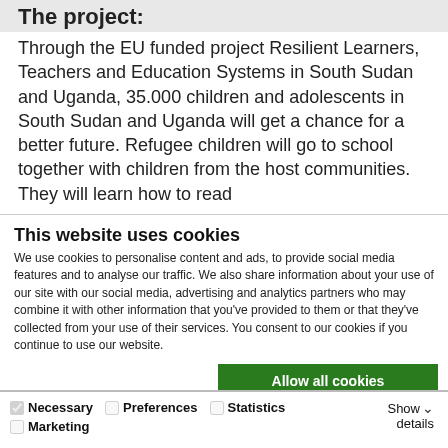The project:
Through the EU funded project Resilient Learners, Teachers and Education Systems in South Sudan and Uganda, 35.000 children and adolescents in South Sudan and Uganda will get a chance for a better future. Refugee children will go to school together with children from the host communities. They will learn how to read
This website uses cookies
We use cookies to personalise content and ads, to provide social media features and to analyse our traffic. We also share information about your use of our site with our social media, advertising and analytics partners who may combine it with other information that you've provided to them or that they've collected from your use of their services. You consent to our cookies if you continue to use our website.
Allow all cookies
Allow selection
Use necessary cookies only
Necessary  Preferences  Statistics  Marketing  Show details